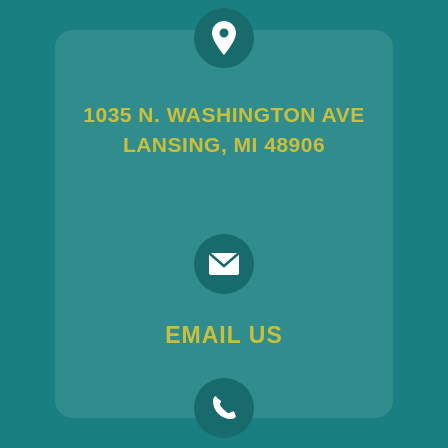[Figure (infographic): Teal background contact information card with three icon circles (map pin, envelope, phone handset) and address/email text]
1035 N. WASHINGTON AVE
LANSING, MI 48906
EMAIL US